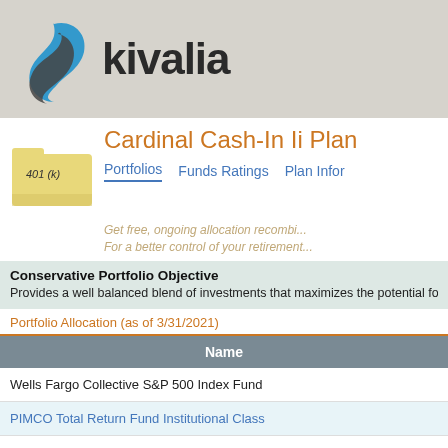[Figure (logo): Kivalia logo with blue swirl icon and bold 'kivalia' text]
Cardinal Cash-In Ii Plan
Portfolios | Funds Ratings | Plan Info
Get free, ongoing allocation recombi... For a better control of your retirement...
Conservative Portfolio Objective
Provides a well balanced blend of investments that maximizes the potential fo...
Portfolio Allocation (as of 3/31/2021)
| Name |
| --- |
| Wells Fargo Collective S&P 500 Index Fund |
| PIMCO Total Return Fund Institutional Class |
| Wells Fargo Diversified Equity Fund - Class Admin |
| Vanguard Institutional Target Retirement 2050 Fund Institutional Shares |